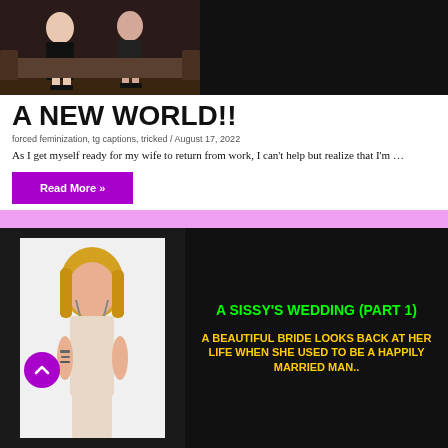[Figure (photo): Two women in black dresses with high heels standing together, dark background]
women sporting eye-candy - pretty, curvaceous men- on their arms. Few men are going to college. Even less are being promoted into positions of power. I remember my wife being dependent on me for her financial needs and now, the tables are turned. I am the one who got laid off and she got promoted to a high paying job. Now it's my duty to take care of the house, cook, and look pretty for her. She treats me like a pretty lady, makes me sit on her lap, and showers me with kisses before carrying me over to the bedroom taking out her 10-inch strapon to make me moan all night long...
A NEW WORLD!!
forced feminization, tg captions, tricked / August 17, 2022
As I get myself ready for my wife to return from work, I can't help but realize that I'm …
Read More »
[Figure (photo): Blonde person with tattoos in lingerie posing]
A SISSY'S WEDDING (PART 1)
A BEAUTIFUL BRIDE LOOKS BACK AT HER LIFE WHEN SHE USED TO BE A HAPPILY MARRIED MAN..